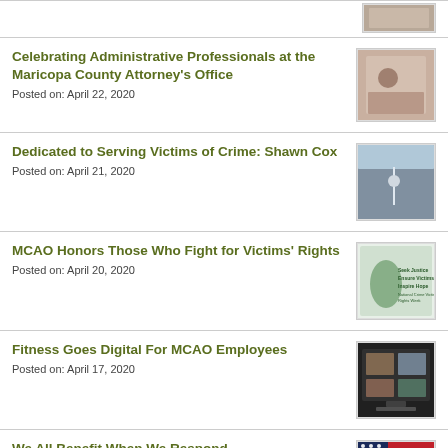[Figure (photo): Partial thumbnail image at top of page]
Celebrating Administrative Professionals at the Maricopa County Attorney's Office
Posted on: April 22, 2020
[Figure (photo): Photo related to Administrative Professionals article]
Dedicated to Serving Victims of Crime: Shawn Cox
Posted on: April 21, 2020
[Figure (photo): Photo of person hiking or outdoors]
MCAO Honors Those Who Fight for Victims' Rights
Posted on: April 20, 2020
[Figure (photo): Graphic for National Crime Victims' Rights Week]
Fitness Goes Digital For MCAO Employees
Posted on: April 17, 2020
[Figure (photo): Screenshot of digital fitness event on screen]
We All Benefit When We Respond
Posted on: April 16, 2020
[Figure (photo): American flag with census 2020 form]